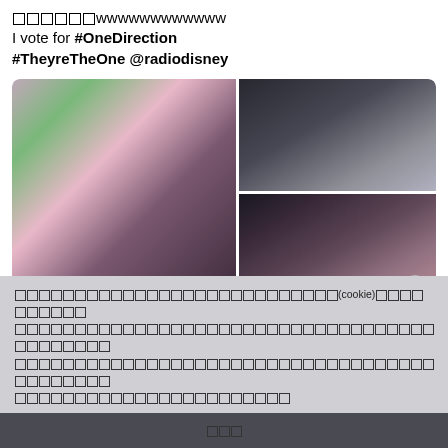□□□□□□wwwwwwwwwwww
I vote for #OneDirection #TheyreTheOne @radiodisney
[Figure (photo): Collage of three photos showing members of One Direction (boy band). Left: two young men standing together against a pink/green background. Top right: close-up of a person in a black jacket. Bottom right: close-up of another person's face.]
□□□□□□□□□□□□□□□□□□□□□□□□□□□(cookie)□□□□□□□□□□ □□□□□□□□□□□□□□□□□□□□□□□□□□□□□□□□□□□□□□□□□□□ □□□□□□□□□□□□□□□□□□□□□□□□□□□□□□□□□□□□□□□□□□□ □□□ [นโยบายความเป็นส่วนตัว] □□□□□□□□□□□
ยอมรับ